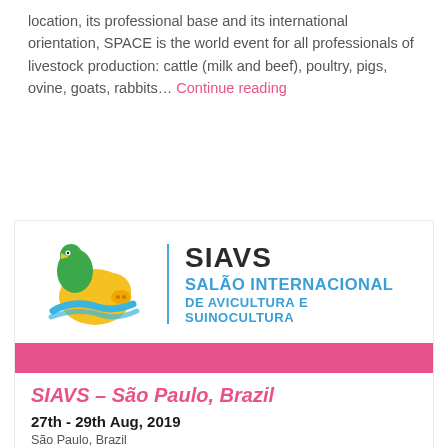location, its professional base and its international orientation, SPACE is the world event for all professionals of livestock production: cattle (milk and beef), poultry, pigs, ovine, goats, rabbits… Continue reading
[Figure (logo): SIAVS logo — colorful bird/pig illustration with SIAVS SALÃO INTERNACIONAL DE AVICULTURA E SUINOCULTURA text]
SIAVS – São Paulo, Brazil
27th - 29th Aug, 2019
São Paulo, Brazil
Tonisity will be present with our distributor from Brazil, Evance. The Brazilian Association of Animal Proteins ABPA is pleased to announce the International Salon of Poultry and Pig Industry – SIAVS 2017, which will be held August 29-31 2017, at Anhembi Parque in São Paulo...